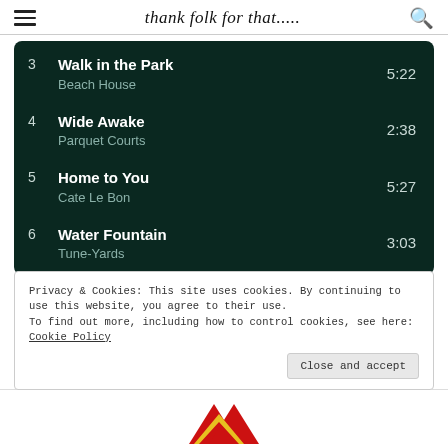thank folk for that.....
3  Walk in the Park  5:22
Beach House
4  Wide Awake  2:38
Parquet Courts
5  Home to You  5:27
Cate Le Bon
6  Water Fountain  3:03
Tune-Yards
Privacy & Cookies: This site uses cookies. By continuing to use this website, you agree to their use.
To find out more, including how to control cookies, see here: Cookie Policy
Close and accept